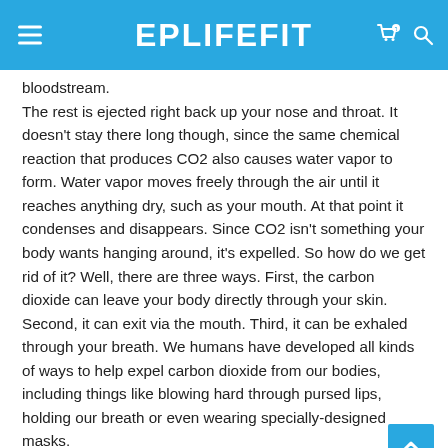EPLIFEFIT
bloodstream.
The rest is ejected right back up your nose and throat. It doesn't stay there long though, since the same chemical reaction that produces CO2 also causes water vapor to form. Water vapor moves freely through the air until it reaches anything dry, such as your mouth. At that point it condenses and disappears. Since CO2 isn't something your body wants hanging around, it's expelled. So how do we get rid of it? Well, there are three ways. First, the carbon dioxide can leave your body directly through your skin. Second, it can exit via the mouth. Third, it can be exhaled through your breath. We humans have developed all kinds of ways to help expel carbon dioxide from our bodies, including things like blowing hard through pursed lips, holding our breath or even wearing specially-designed masks.
But what happens when we have a pneumothorax? How does it